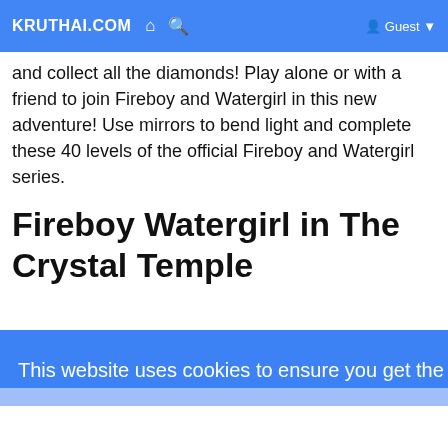KRUTHAI.COM  🏠  🔍  Guest
and collect all the diamonds! Play alone or with a friend to join Fireboy and Watergirl in this new adventure! Use mirrors to bend light and complete these 40 levels of the official Fireboy and Watergirl series.
Fireboy Watergirl in The Crystal Temple
This website uses cookies to ensure you get the best experience on our website. Learn More
Got It!
hunched over the same keyboard in the finest